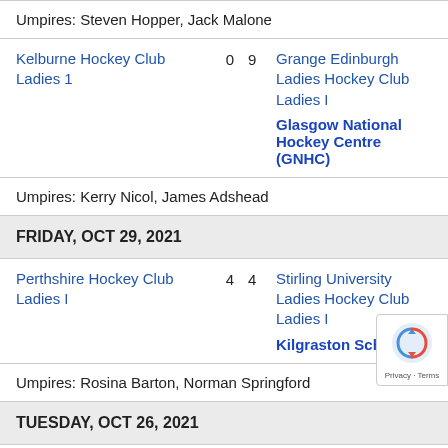Umpires: Steven Hopper, Jack Malone
| Kelburne Hockey Club Ladies 1 | 0 | 9 | Grange Edinburgh Ladies Hockey Club Ladies I |
Glasgow National Hockey Centre (GNHC)
Umpires: Kerry Nicol, James Adshead
FRIDAY, OCT 29, 2021
| Perthshire Hockey Club Ladies I | 4 | 4 | Stirling University Ladies Hockey Club Ladies I |
Kilgraston School
Umpires: Rosina Barton, Norman Springford
TUESDAY, OCT 26, 2021
| Stirling Wanderers | 1 | 0 | Kelburne Hockey Club |